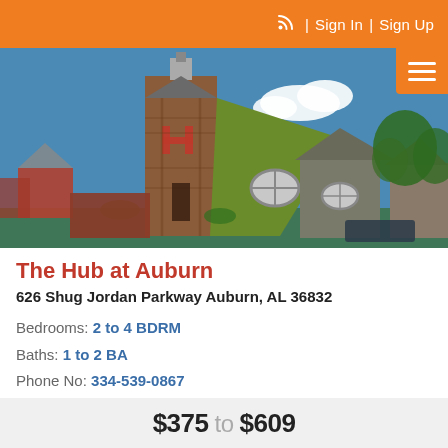Sign In | Sign Up
[Figure (photo): Exterior photo of The Hub at Auburn apartment complex, showing a tall brown wood-sided tower with a large 'H' letter on it, green angled rooflines, blue sky, and trees in the background.]
The Hub at Auburn
626 Shug Jordan Parkway Auburn, AL 36832
Bedrooms: 2 to 4 BDRM
Baths: 1 to 2 BA
Phone No: 334-539-0867
$375 to $609